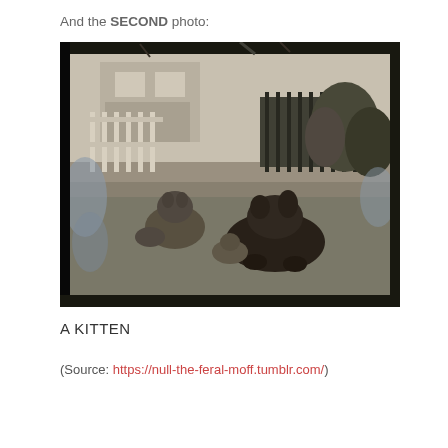And the SECOND photo:
[Figure (photo): Vintage black and white photograph showing cats on a lawn. In the background there is a white picket fence and a house. Two cats are visible in the foreground on grass, with some blue/light discoloration artifacts on the left side of the image suggesting an old damaged negative or print.]
A KITTEN
(Source: https://null-the-feral-moff.tumblr.com/)